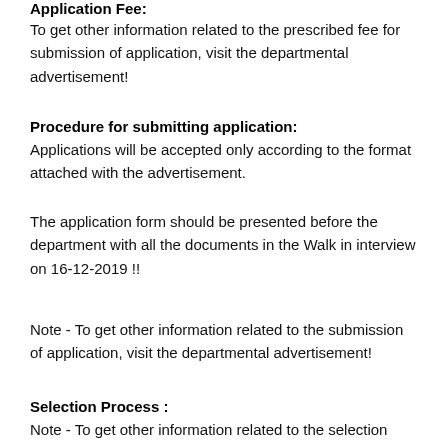Application Fee:
To get other information related to the prescribed fee for submission of application, visit the departmental advertisement!
Procedure for submitting application:
Applications will be accepted only according to the format attached with the advertisement.
The application form should be presented before the department with all the documents in the Walk in interview on 16-12-2019 !!
Note - To get other information related to the submission of application, visit the departmental advertisement!
Selection Process :
Note - To get other information related to the selection